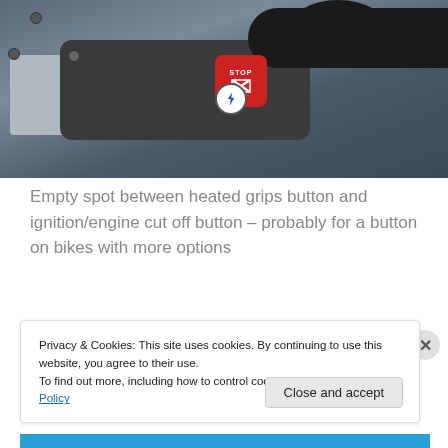[Figure (photo): Close-up photo of motorcycle handlebar controls showing a red STOP/engine cut-off button with an X symbol and a lightning bolt ignition button on a dark grey control housing]
Empty spot between heated grips button and ignition/engine cut off button – probably for a button on bikes with more options
Privacy & Cookies: This site uses cookies. By continuing to use this website, you agree to their use.
To find out more, including how to control cookies, see here: Cookie Policy